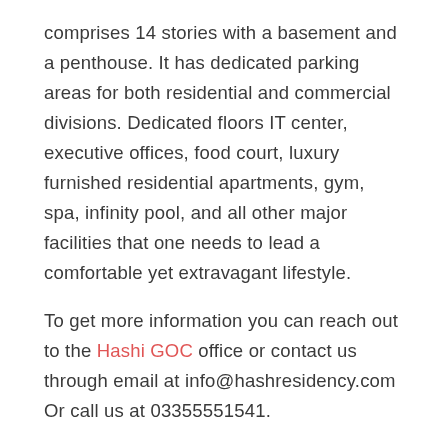comprises 14 stories with a basement and a penthouse. It has dedicated parking areas for both residential and commercial divisions. Dedicated floors IT center, executive offices, food court, luxury furnished residential apartments, gym, spa, infinity pool, and all other major facilities that one needs to lead a comfortable yet extravagant lifestyle.
To get more information you can reach out to the Hashi GOC office or contact us through email at info@hashresidency.com Or call us at 03355551541.
APARTMENTS, APARTMENTS FOR SALE, BAHRIA TOWN RAWALPINDI, HASHI GROUP, HASHRESIDENCY, MALLS, REAL ESTATE